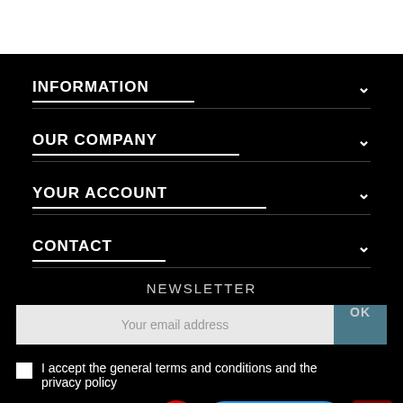INFORMATION
OUR COMPANY
YOUR ACCOUNT
CONTACT
NEWSLETTER
Your email address
OK
I accept the general terms and conditions and the privacy policy
[Figure (screenshot): YouTube button (red circle), Hors-ligne chat button (blue pill), and dark red up-arrow button]